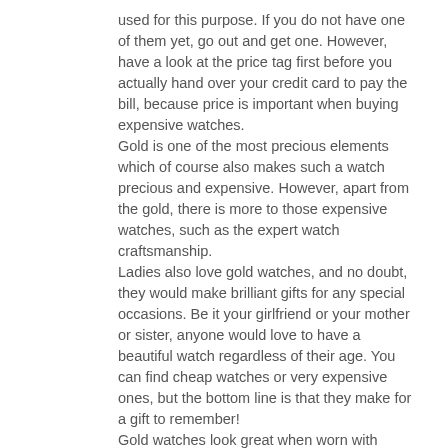used for this purpose. If you do not have one of them yet, go out and get one. However, have a look at the price tag first before you actually hand over your credit card to pay the bill, because price is important when buying expensive watches. Gold is one of the most precious elements which of course also makes such a watch precious and expensive. However, apart from the gold, there is more to those expensive watches, such as the expert watch craftsmanship. Ladies also love gold watches, and no doubt, they would make brilliant gifts for any special occasions. Be it your girlfriend or your mother or sister, anyone would love to have a beautiful watch regardless of their age. You can find cheap watches or very expensive ones, but the bottom line is that they make for a gift to remember! Gold watches look great when worn with expensive dresses or designer suits and these watches last very long if maintained well and with care since gold is very durable. So, remember to take good care of that watch from the minute you put it on!